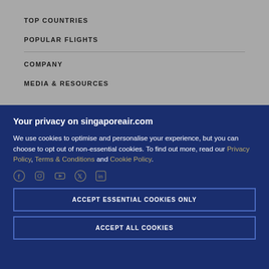TOP COUNTRIES
POPULAR FLIGHTS
COMPANY
MEDIA & RESOURCES
CAREERS
Your privacy on singaporeair.com
We use cookies to optimise and personalise your experience, but you can choose to opt out of non-essential cookies. To find out more, read our Privacy Policy, Terms & Conditions and Cookie Policy.
ACCEPT ESSENTIAL COOKIES ONLY
ACCEPT ALL COOKIES